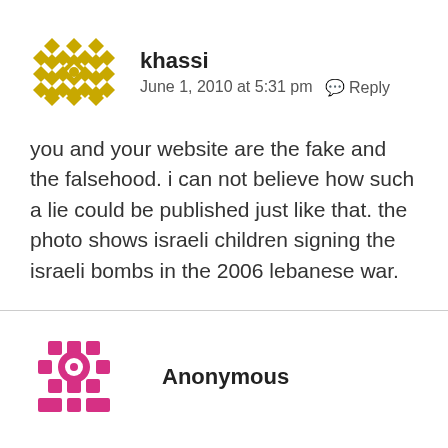[Figure (illustration): Geometric decorative avatar icon with gold/yellow diamond and star pattern on white background]
khassi
June 1, 2010 at 5:31 pm   ↩ Reply
you and your website are the fake and the falsehood. i can not believe how such a lie could be published just like that. the photo shows israeli children signing the israeli bombs in the 2006 lebanese war.
[Figure (illustration): Geometric decorative avatar icon with pink/magenta diamond and circle pattern on white background]
Anonymous